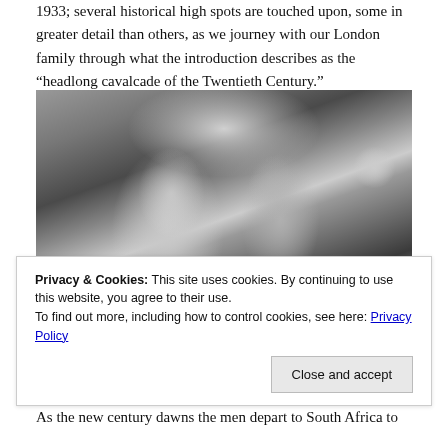1933; several historical high spots are touched upon, some in greater detail than others, as we journey with our London family through what the introduction describes as the “headlong cavalcade of the Twentieth Century.”
[Figure (photo): Black and white film still showing a woman in an elegant off-shoulder gown and a man in formal evening wear with bow tie and mustache, appearing to be from a 1930s era film.]
Privacy & Cookies: This site uses cookies. By continuing to use this website, you agree to their use. To find out more, including how to control cookies, see here: Privacy Policy
As the new century dawns the men depart to South Africa to